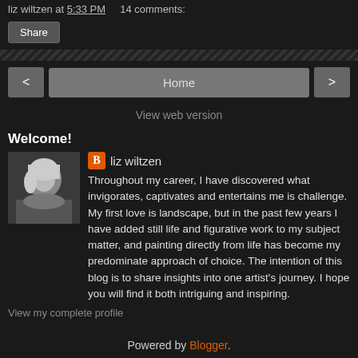liz wiltzen at 5:33 PM   14 comments:
Share
< Home >
View web version
Welcome!
liz wiltzen
Throughout my career, I have discovered what invigorates, captivates and entertains me is challenge. My first love is landscape, but in the past few years I have added still life and figurative work to my subject matter, and painting directly from life has become my predominate approach of choice. The intention of this blog is to share insights into one artist's journey. I hope you will find it both intriguing and inspiring.
View my complete profile
Powered by Blogger.